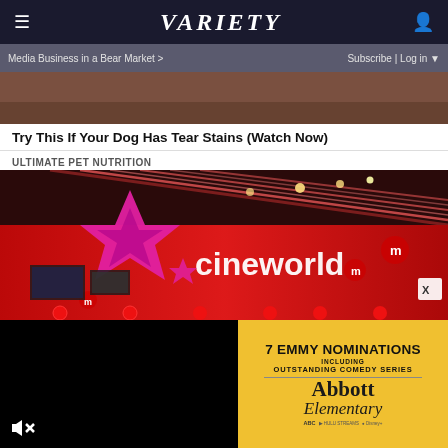≡  VARIETY  👤
Media Business in a Bear Market >   Subscribe | Log in ▼
[Figure (photo): Partial view of image above the fold — dark brownish tones, top of advertisement image]
Try This If Your Dog Has Tear Stains (Watch Now)
ULTIMATE PET NUTRITION
[Figure (photo): Cineworld cinema exterior with bright pink/magenta neon star logo and cineworld branding on red illuminated facade with ceiling light strips]
[Figure (photo): Black video player panel with mute/unmute speaker icon]
[Figure (infographic): Yellow advertisement panel: 7 EMMY NOMINATIONS INCLUDING OUTSTANDING COMEDY SERIES — Abbott Elementary — network logos]